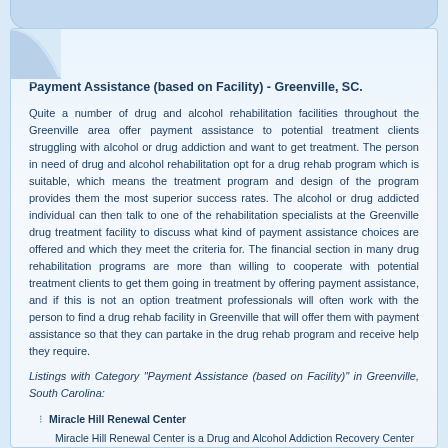Payment Assistance (based on Facility) - Greenville, SC.
Quite a number of drug and alcohol rehabilitation facilities throughout the Greenville area offer payment assistance to potential treatment clients struggling with alcohol or drug addiction and want to get treatment. The person in need of drug and alcohol rehabilitation opt for a drug rehab program which is suitable, which means the treatment program and design of the program provides them the most superior success rates. The alcohol or drug addicted individual can then talk to one of the rehabilitation specialists at the Greenville drug treatment facility to discuss what kind of payment assistance choices are offered and which they meet the criteria for. The financial section in many drug rehabilitation programs are more than willing to cooperate with potential treatment clients to get them going in treatment by offering payment assistance, and if this is not an option treatment professionals will often work with the person to find a drug rehab facility in Greenville that will offer them with payment assistance so that they can partake in the drug rehab program and receive help they require.
Listings with Category "Payment Assistance (based on Facility)" in Greenville, South Carolina:
Miracle Hill Renewal Center
Miracle Hill Renewal Center is a Drug and Alcohol Addiction Recovery Center that can be found